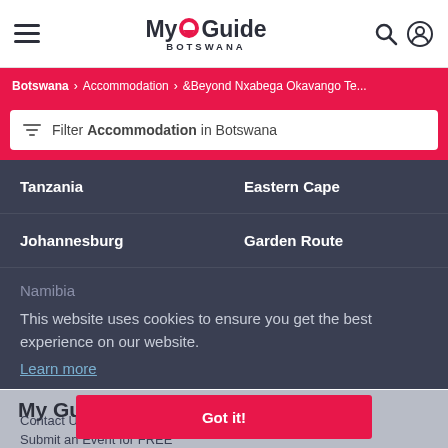My Guide BOTSWANA
Botswana > Accommodation > &Beyond Nxabega Okavango Te...
Filter Accommodation in Botswana
Tanzania
Eastern Cape
Johannesburg
Garden Route
Namibia
This website uses cookies to ensure you get the best experience on our website.
Learn more
My Guide Botswana
Got it!
Contact Us
Submit an Event for FREE